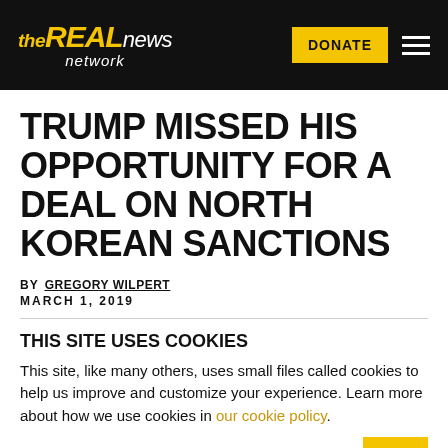the REAL news network — DONATE
TRUMP MISSED HIS OPPORTUNITY FOR A DEAL ON NORTH KOREAN SANCTIONS
BY GREGORY WILPERT
MARCH 1, 2019
THIS SITE USES COOKIES
This site, like many others, uses small files called cookies to help us improve and customize your experience. Learn more about how we use cookies in our cookie policy.
Learn more about cookies   OK